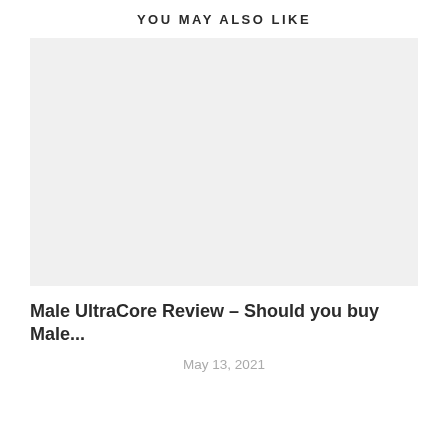YOU MAY ALSO LIKE
[Figure (photo): Placeholder image with light gray background]
Male UltraCore Review – Should you buy Male...
May 13, 2021